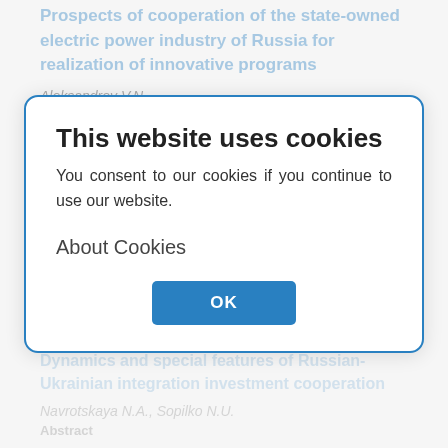Prospects of cooperation of the state-owned electric power industry of Russia for realization of innovative programs
Aleksandrov V.N.
Abstract
The article is devoted to the purpose of the … principles of …
Russkiy zhurnal: Economics. 2013;(1):31-38
31-38   265
(RUS) (OKS XML)
[Figure (screenshot): Cookie consent modal dialog with title 'This website uses cookies', body text 'You consent to our cookies if you continue to use our website.', an 'About Cookies' link, and an OK button.]
Dynamics and special features of Russian-Ukrainian integration investment cooperation
Navrotskaya N.A., Sopilko N.U.
Abstract